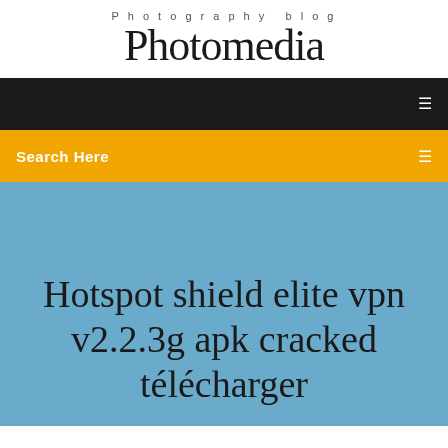Photography blog
Photomedia
[Figure (screenshot): Black navigation bar with white menu icon on the right]
Search Here
Hotspot shield elite vpn v2.2.3g apk cracked télécharger